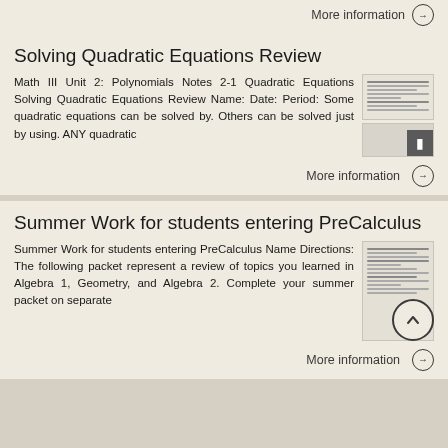More information →
Solving Quadratic Equations Review
Math III Unit 2: Polynomials Notes 2-1 Quadratic Equations Solving Quadratic Equations Review Name: Date: Period: Some quadratic equations can be solved by. Others can be solved just by using. ANY quadratic
More information →
Summer Work for students entering PreCalculus
Summer Work for students entering PreCalculus Name Directions: The following packet represent a review of topics you learned in Algebra 1, Geometry, and Algebra 2. Complete your summer packet on separate
More information →